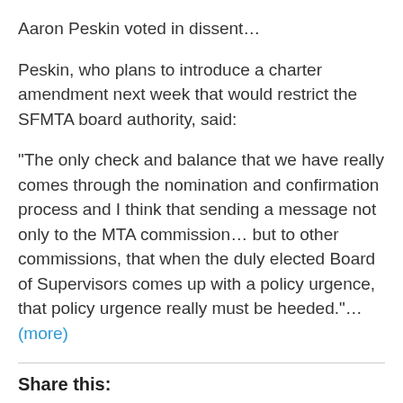Aaron Peskin voted in dissent…
Peskin, who plans to introduce a charter amendment next week that would restrict the SFMTA board authority, said:
“The only check and balance that we have really comes through the nomination and confirmation process and I think that sending a message not only to the MTA commission… but to other commissions, that when the duly elected Board of Supervisors comes up with a policy urgence, that policy urgence really must be heeded.”…
(more)
Share this: